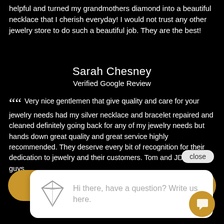helpful and turned my grandmothers diamond into a beautiful necklace that I cherish everyday! I would not trust any other jewelry store to do such a beautiful job. They are the best!
Sarah Chesney
Verified Google Review
““ Very nice gentlemen that give quality and care for your jewelry needs had my silver necklace and bracelet repaired and cleaned definitely going back for any of my jewelry needs but hands down great quality and great service highly recommended. They deserve every bit of recognition for their dedication to jewelry and their customers. Tom and JD thanks guys.
[Figure (screenshot): Chat popup widget with diamond icon and text: Hi there, have a question? Write us here.]
close
Schedule With Us Today